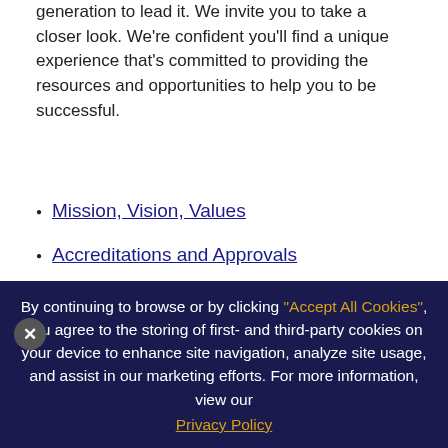generation to lead it. We invite you to take a closer look. We're confident you'll find a unique experience that's committed to providing the resources and opportunities to help you to be successful.
Mission, Vision, Values
Accreditations and Approvals
Campuses
Berkeley College Online®
International Students
Military and Veteran Students
Berkeley College reserves the right to add, discontinue, or modify its programs and policies at any time. Modifications subsequent to the original publication of
By continuing to browse or by clicking "Accept All Cookies", you agree to the storing of first- and third-party cookies on your device to enhance site navigation, analyze site usage, and assist in our marketing efforts. For more information, view our Privacy Policy
*Continuing Education programs available...